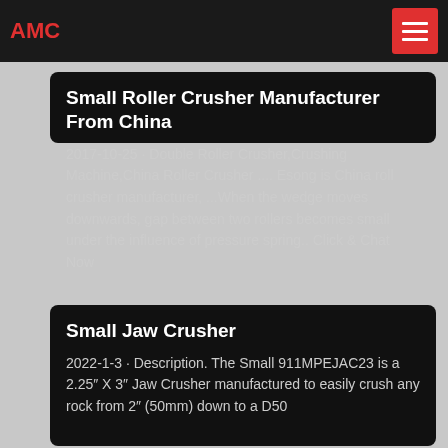AMC
Small Roller Crusher Manufacturer From China
2017-10-25 · Double Roller Crusher,Crushing Machine,China Roller Crusher .... Esong is China roll crusher manufacturer, ...When the wedge moves downwards, gap between two rollers becomes small under the influence of pressure spring.. Click & Chat Now
Small Jaw Crusher
2022-1-3 · Description. The Small 911MPEJAC23 is a 2.25" X 3" Jaw Crusher manufactured to easily crush any rock from 2" (50mm) down to a D50